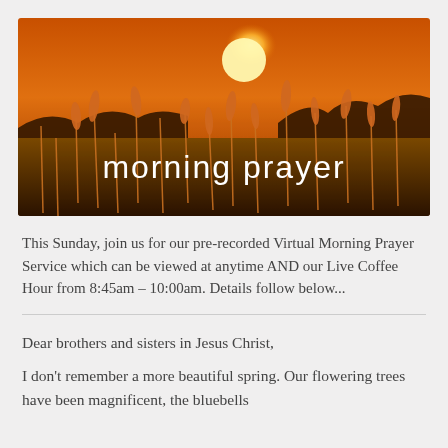[Figure (photo): Sunset landscape photo of golden grass/wheat stalks with a bright sun in an orange sky, silhouetted trees in the background. White text overlay reads 'morning prayer' in a rounded sans-serif font.]
This Sunday, join us for our pre-recorded Virtual Morning Prayer Service which can be viewed at anytime AND our Live Coffee Hour from 8:45am – 10:00am. Details follow below...
Dear brothers and sisters in Jesus Christ,
I don't remember a more beautiful spring. Our flowering trees have been magnificent, the bluebells